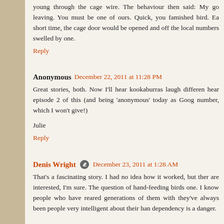young through the cage wire. The behaviour then said: My go leaving. You must be one of ours. Quick, you famished bird. Ea short time, the cage door would be opened and off the local numbers swelled by one.
Reply
Anonymous  December 22, 2011 at 11:28 PM
Great stories, both. Now I'll hear kookaburras laugh differen hear episode 2 of this (and being 'anonymous' today as Goog number, which I won't give!)
Julie
Reply
Denis Wright  December 23, 2011 at 1:28 AM
That's a fascinating story. I had no idea how it worked, but ther are interested, I'm sure. The question of hand-feeding birds one. I know people who have reared generations of them with they've always been people very intelligent about their han dependency is a danger.